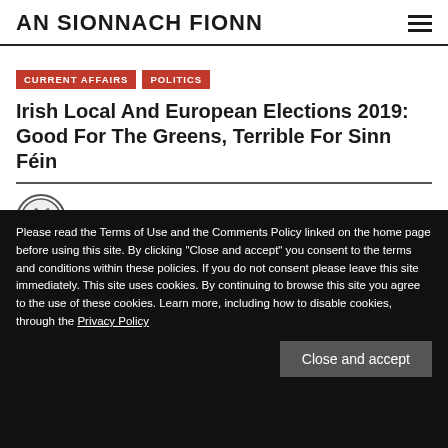AN SIONNACH FIONN
CURRENT AFFAIRS  POLITICS
Irish Local And European Elections 2019: Good For The Greens, Terrible For Sinn Féin
MAY 31, 2019
Please read the Terms of Use and the Comments Policy linked on the home page before using this site. By clicking "Close and accept" you consent to the terms and conditions within these policies. If you do not consent please leave this site immediately. This site uses cookies. By continuing to browse this site you agree to the use of these cookies. Learn more, including how to disable cookies, through the Privacy Policy
Close and accept